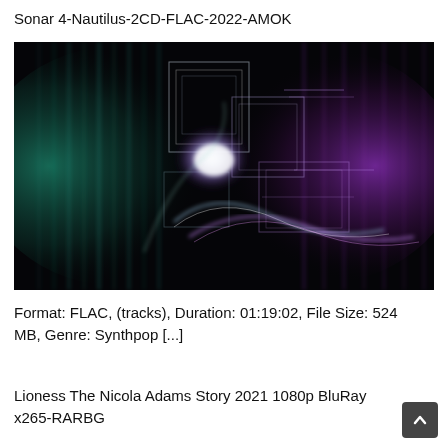Sonar 4-Nautilus-2CD-FLAC-2022-AMOK
[Figure (illustration): Abstract digital art image featuring glowing neon geometric shapes and flowing light curves in teal/green on the left and purple on the right against a dark/black background.]
Format: FLAC, (tracks), Duration: 01:19:02, File Size: 524 MB, Genre: Synthpop [...]
Lioness The Nicola Adams Story 2021 1080p BluRay x265-RARBG